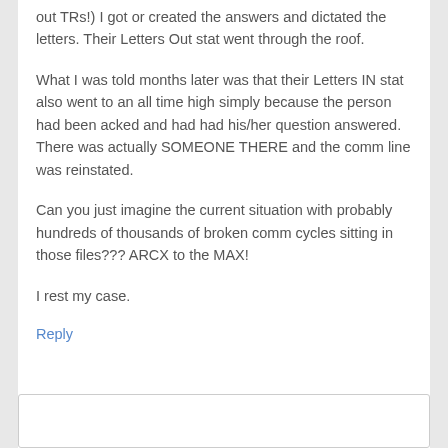out TRs!) I got or created the answers and dictated the letters. Their Letters Out stat went through the roof.
What I was told months later was that their Letters IN stat also went to an all time high simply because the person had been acked and had had his/her question answered. There was actually SOMEONE THERE and the comm line was reinstated.
Can you just imagine the current situation with probably hundreds of thousands of broken comm cycles sitting in those files??? ARCX to the MAX!
I rest my case.
Reply